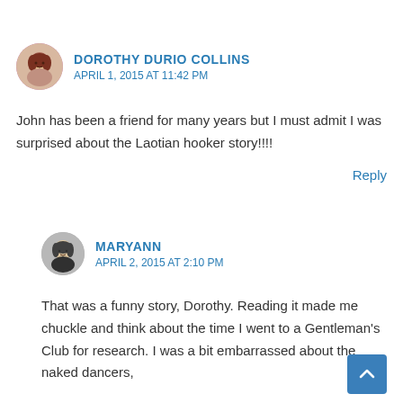[Figure (illustration): Circular avatar photo of Dorothy Durio Collins, a woman with red/brown hair]
DOROTHY DURIO COLLINS
APRIL 1, 2015 AT 11:42 PM
John has been a friend for many years but I must admit I was surprised about the Laotian hooker story!!!!
Reply
[Figure (illustration): Circular avatar photo of Maryann, a woman with glasses]
MARYANN
APRIL 2, 2015 AT 2:10 PM
That was a funny story, Dorothy. Reading it made me chuckle and think about the time I went to a Gentleman's Club for research. I was a bit embarrassed about the naked dancers,